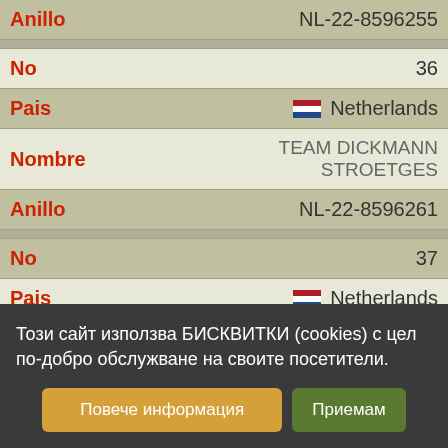| Field | Value |
| --- | --- |
| Anillo | NL-22-8596255 |
| No | 36 |
| Pais | Netherlands |
| Nombre | TEAM DICKMANN STROETGES |
| Anillo | NL-22-8596261 |
| No | 37 |
| Pais | Netherlands |
| Nombre | TEAM DICKMANN STROETGES |
| Anillo | NL-22-8596269 |
Този сайт използва БИСКВИТКИ (cookies) с цел по-добро обслужване на своите посетители.
Повече информация
Приемам